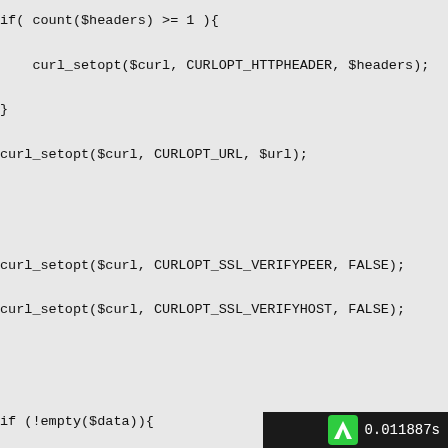if( count($headers) >= 1 ){
    curl_setopt($curl, CURLOPT_HTTPHEADER, $headers);
}
curl_setopt($curl, CURLOPT_URL, $url);
curl_setopt($curl, CURLOPT_SSL_VERIFYPEER, FALSE);
curl_setopt($curl, CURLOPT_SSL_VERIFYHOST, FALSE);
if (!empty($data)){
    curl_setopt($curl, CURLOPT_POST, 1);
    curl_setopt($curl, CURLOPT_POSTFIELDS, $data);
}
curl_setopt($curl, CURLOPT_RETURNTRANSFER, 1);
$output = curl_exec($curl);
0.011887s